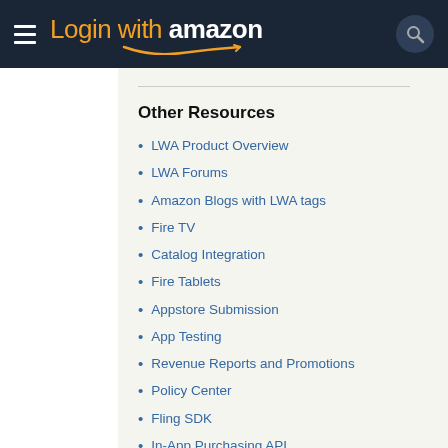Login with amazon
Other Resources
LWA Product Overview
LWA Forums
Amazon Blogs with LWA tags
Fire TV
Catalog Integration
Fire Tablets
Appstore Submission
App Testing
Revenue Reports and Promotions
Policy Center
Fling SDK
In-App Purchasing API
Submit Your Apps